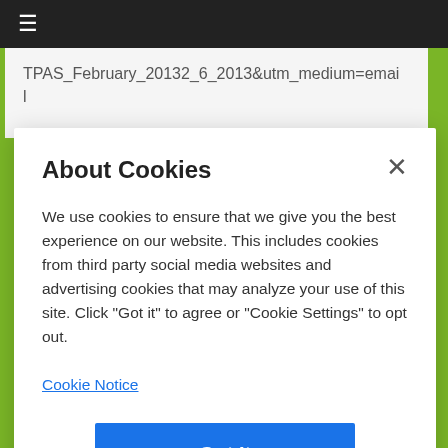≡
TPAS_February_20132_6_2013&utm_medium=email
About Cookies
We use cookies to ensure that we give you the best experience on our website. This includes cookies from third party social media websites and advertising cookies that may analyze your use of this site. Click "Got it" to agree or "Cookie Settings" to opt out.
Cookie Notice
Got It
Cookies Settings